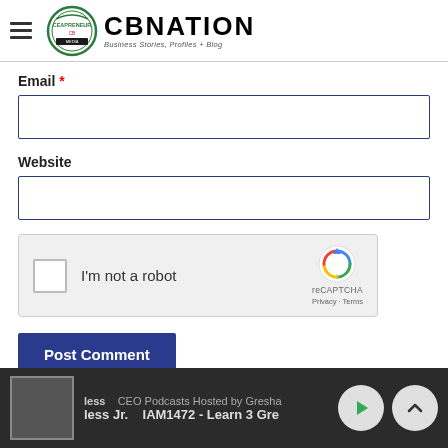CBNATION — Business Stories, Profiles + Blog
Email *
Website
[Figure (screenshot): reCAPTCHA widget with checkbox labeled 'I'm not a robot' and reCAPTCHA logo with Privacy and Terms links]
Post Comment
less | CEO Podcasts Hosted by Gresha — less Jr. | IAM1472 - Learn 3 Gre